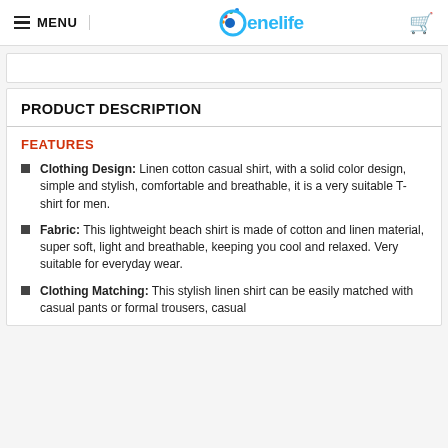MENU | Benelife
PRODUCT DESCRIPTION
FEATURES
Clothing Design: Linen cotton casual shirt, with a solid color design, simple and stylish, comfortable and breathable, it is a very suitable T-shirt for men.
Fabric: This lightweight beach shirt is made of cotton and linen material, super soft, light and breathable, keeping you cool and relaxed. Very suitable for everyday wear.
Clothing Matching: This stylish linen shirt can be easily matched with casual pants or formal trousers, casual